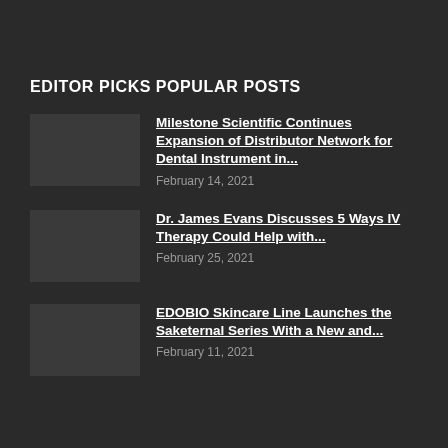EDITOR PICKS
POPULAR POSTS
Milestone Scientific Continues Expansion of Distributor Network for Dental Instrument in...
February 14, 2021
Dr. James Evans Discusses 5 Ways IV Therapy Could Help with...
February 25, 2021
EDOBIO Skincare Line Launches the Saketernal Series With a New and...
February 11, 2021